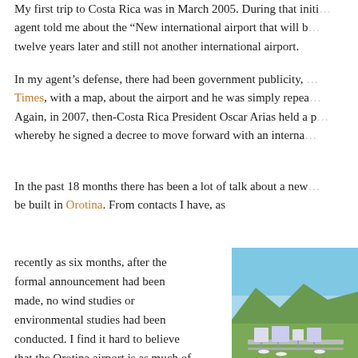My first trip to Costa Rica was in March 2005. During that initial visit, my agent told me about the “New international airport that will b… twelve years later and still not another international airport.
In my agent’s defense, there had been government publicity, … Times, with a map, about the airport and he was simply repea… Again, in 2007, then-Costa Rica President Oscar Arias held a p… whereby he signed a decree to move forward with an interna…
In the past 18 months there has been a lot of talk about a new… be built in Orotina. From contacts I have, as
recently as six months, after the formal announcement had been made, no wind studies or environmental studies had been conducted. I find it hard to believe that the Orotina airport is as much of a ‘slam-dunk’ as is being reported. The latest news is that we will all
[Figure (illustration): Aerial rendering of Aeropuerto Internacional de Cascajal showing airport terminal buildings, runways, and surrounding green landscape with blue sky.]